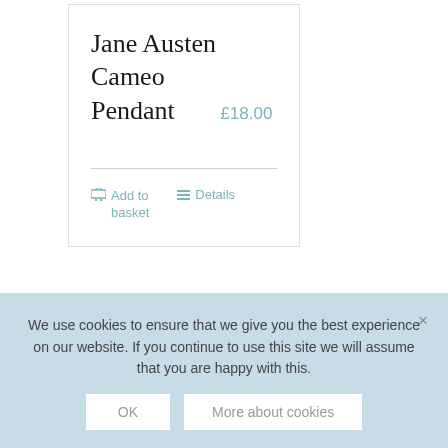Jane Austen Cameo Pendant
£18.00
Add to basket
Details
[Figure (photo): Photograph of a historic red brick building with chimneys against a blue sky with trees]
We use cookies to ensure that we give you the best experience on our website. If you continue to use this site we will assume that you are happy with this.
OK
More about cookies